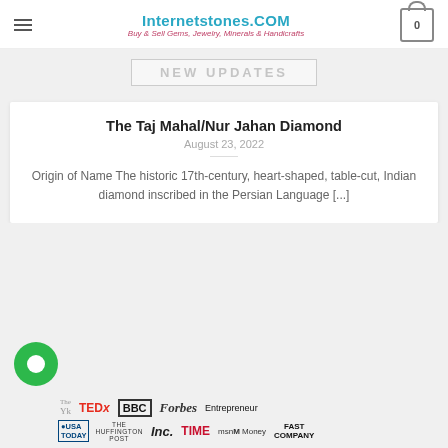Internetstones.COM
Buy & Sell Gems, Jewelry, Minerals & Handicrafts
NEW UPDATES
The Taj Mahal/Nur Jahan Diamond
August 23, 2022
Origin of Name The historic 17th-century, heart-shaped, table-cut, Indian diamond inscribed in the Persian Language [...]
[Figure (logo): Media logos: The New York (partial), TEDx, BBC, Forbes, Entrepreneur, USA Today, The Huffington Post, Inc., TIME, msn Money, Fast Company]